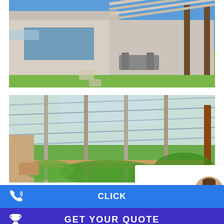[Figure (photo): Modern house exterior with retractable pergola/awning, glass walls, garden lawn, and patio furniture near the ocean]
[Figure (photo): Outdoor patio area with translucent polycarbonate roof panels on a pergola structure, surrounded by garden and trees]
[Figure (photo): Circular avatar photo of a young man smiling, used as a chat/contact avatar]
CLICK
GET YOUR QUOTE